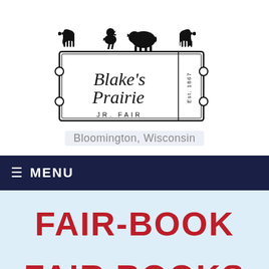[Figure (logo): Blake's Prairie Jr. Fair logo — ticket-shaped border with farm animal silhouettes (cows, pig, chicken) on top, script text 'Blake's Prairie' inside, 'JR. FAIR' printed below, 'Est. 1867' on right side tab]
Bloomington, Wisconsin
≡ MENU
FAIR-BOOK
FAIR BOOKS